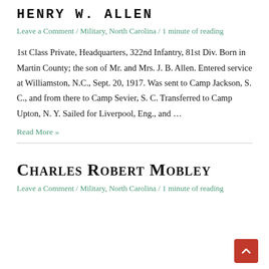HENRY W. ALLEN
Leave a Comment / Military, North Carolina / 1 minute of reading
1st Class Private, Headquarters, 322nd Infantry, 81st Div. Born in Martin County; the son of Mr. and Mrs. J. B. Allen. Entered service at Williamston, N.C., Sept. 20, 1917. Was sent to Camp Jackson, S. C., and from there to Camp Sevier, S. C. Transferred to Camp Upton, N. Y. Sailed for Liverpool, Eng., and …
Read More »
Charles Robert Mobley
Leave a Comment / Military, North Carolina / 1 minute of reading